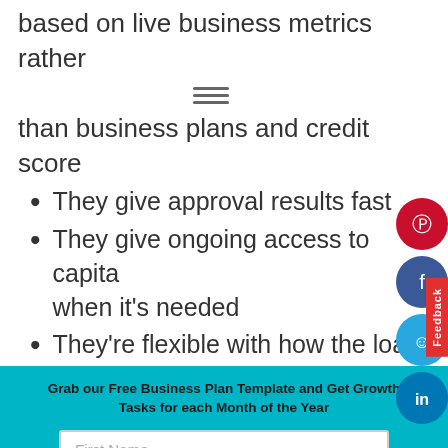based on live business metrics rather than business plans and credit score
They give approval results fast
They give ongoing access to capital when it's needed
They're flexible with how the loan
Grab our Free Business Plan Template and Get Growth Tasks for each Month of the Year
First Name
E-mail address
SIGN ME UP